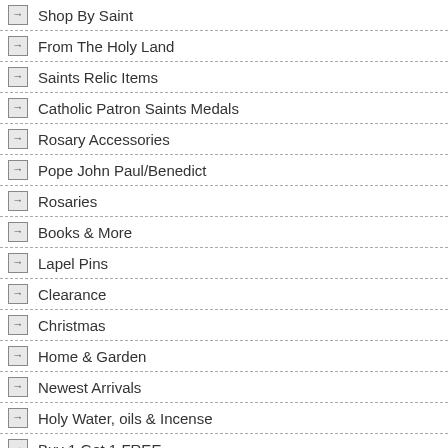Shop By Saint
From The Holy Land
Saints Relic Items
Catholic Patron Saints Medals
Rosary Accessories
Pope John Paul/Benedict
Rosaries
Books & More
Lapel Pins
Clearance
Christmas
Home & Garden
Newest Arrivals
Holy Water, oils & Incense
Buy 1 Get 1 FREE
Saints Pocket Stones
Church Supplies
Prayer Pillows & Aprons
100% Catholic
Nearly FREE
hanging - BON... Everyday Low
Price: $12.9
Add to Ca...
Other Related Products:
[Figure (photo): Gold tone St. Benedict cross necklace with card]
Gold tone St. Benedi...
Price: $10.95
More Details
St...